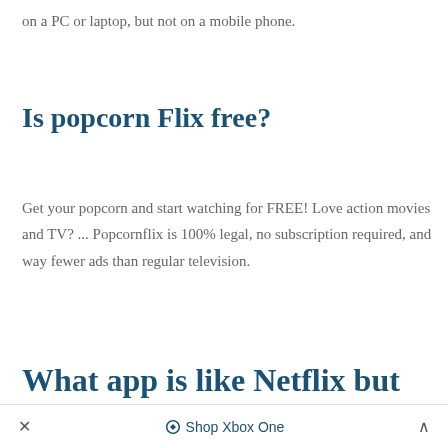on a PC or laptop, but not on a mobile phone.
Is popcorn Flix free?
Get your popcorn and start watching for FREE! Love action movies and TV? ... Popcornflix is 100% legal, no subscription required, and way fewer ads than regular television.
What app is like Netflix but
× Shop Xbox One ^